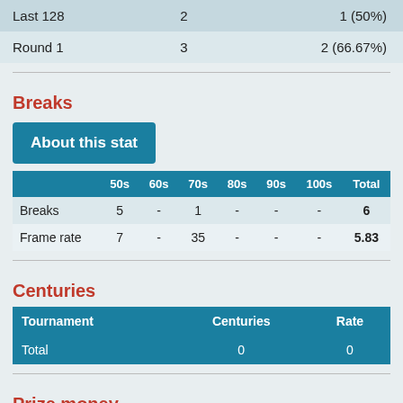|  |  |  |
| --- | --- | --- |
| Last 128 | 2 | 1 (50%) |
| Round 1 | 3 | 2 (66.67%) |
Breaks
About this stat
|  | 50s | 60s | 70s | 80s | 90s | 100s | Total |
| --- | --- | --- | --- | --- | --- | --- | --- |
| Breaks | 5 | - | 1 | - | - | - | 6 |
| Frame rate | 7 | - | 35 | - | - | - | 5.83 |
Centuries
| Tournament | Centuries | Rate |
| --- | --- | --- |
| Total | 0 | 0 |
Prize money
| Tournament | Finish | Prize Money (GBP) |
| --- | --- | --- |
| 2019 Q School - Event 3 | Last 128 | 0 |